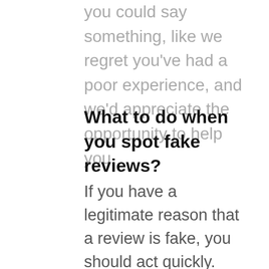you could say something, like we regret you've had a poor experience, and we'd appreciate the opportunity to help you.
What to do when you spot fake reviews?
If you have a legitimate reason that a review is fake, you should act quickly. The first step is to preserve the comment – use a snipping tool or take a screenshot. This is vital